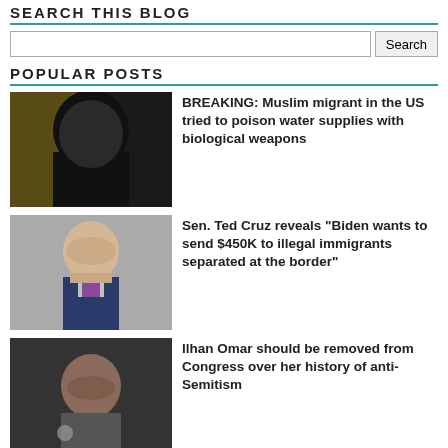SEARCH THIS BLOG
Search
POPULAR POSTS
[Figure (photo): Person wearing black niqab, head bowed]
BREAKING: Muslim migrant in the US tried to poison water supplies with biological weapons
[Figure (photo): Man in suit with beard, appears to be Sen. Ted Cruz speaking]
Sen. Ted Cruz reveals "Biden wants to send $450K to illegal immigrants separated at the border"
[Figure (photo): Woman speaking at a microphone, appears to be Ilhan Omar]
Ilhan Omar should be removed from Congress over her history of anti-Semitism